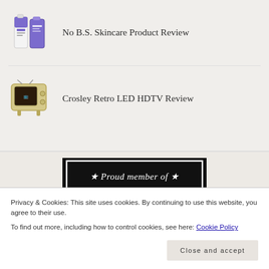No B.S. Skincare Product Review
Crosley Retro LED HDTV Review
[Figure (other): Proud member of THE INTERNET badge — black shield-shaped emblem with white text and stars]
Privacy & Cookies: This site uses cookies. By continuing to use this website, you agree to their use.
To find out more, including how to control cookies, see here: Cookie Policy
Close and accept